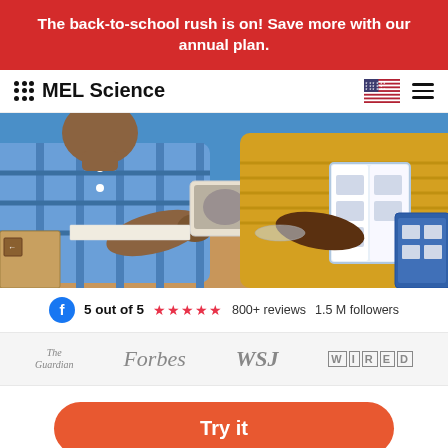The back-to-school rush is on! Save more with our annual plan.
[Figure (logo): MEL Science logo with grid of dots and text]
[Figure (photo): Two children doing a science experiment at a table, one in blue plaid shirt and one in yellow sweater, with a mirror device and instruction booklets]
5 out of 5 ★★★★★ 800+ reviews 1.5 M followers
[Figure (logo): Press logos: The Guardian, Forbes, WSJ, WIRED]
[Figure (other): Try it button (red rounded rectangle)]
Look what you can do at home!